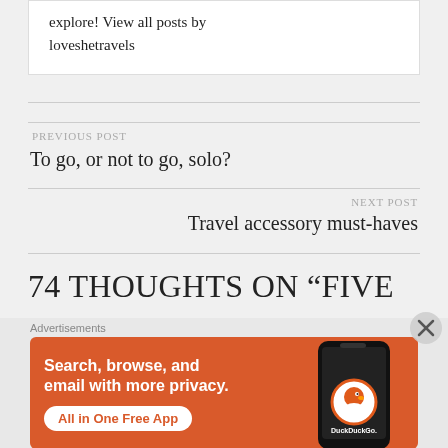explore! View all posts by loveshetravels
PREVIOUS POST
To go, or not to go, solo?
NEXT POST
Travel accessory must-haves
74 THOUGHTS ON “FIVE
[Figure (screenshot): DuckDuckGo advertisement banner with orange background. Text reads: Search, browse, and email with more privacy. All in One Free App. DuckDuckGo logo and phone mockup on the right.]